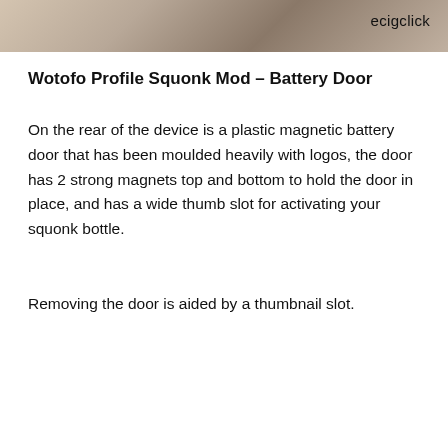[Figure (photo): Partial photo strip at the top of the page showing hands holding a device, cropped at the bottom edge. The ecigclick watermark is visible in the top right corner.]
Wotofo Profile Squonk Mod – Battery Door
On the rear of the device is a plastic magnetic battery door that has been moulded heavily with logos, the door has 2 strong magnets top and bottom to hold the door in place, and has a wide thumb slot for activating your squonk bottle.
Removing the door is aided by a thumbnail slot.